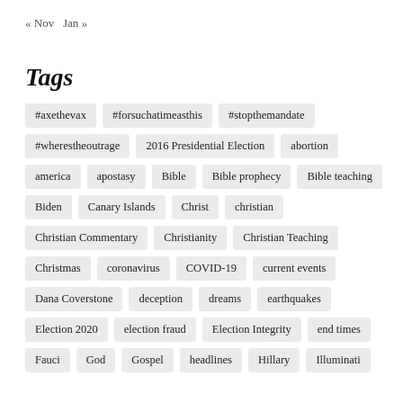« Nov   Jan »
Tags
#axethevax
#forsuchatimeasthis
#stopthemandate
#wherestheoutrage
2016 Presidential Election
abortion
america
apostasy
Bible
Bible prophecy
Bible teaching
Biden
Canary Islands
Christ
christian
Christian Commentary
Christianity
Christian Teaching
Christmas
coronavirus
COVID-19
current events
Dana Coverstone
deception
dreams
earthquakes
Election 2020
election fraud
Election Integrity
end times
Fauci
God
Gospel
headlines
Hillary
Illuminati